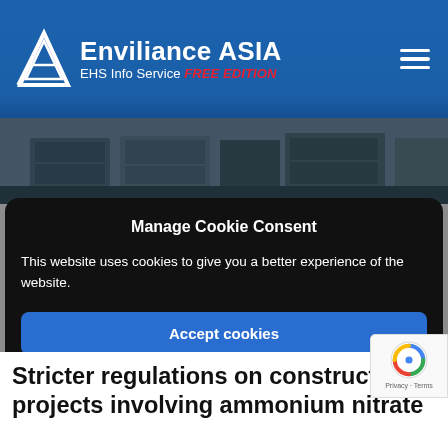Enviliance ASIA EHS Info Service FREE EDITION
[Figure (photo): Partial view of a warehouse or storage facility with pallets and shelving]
Manage Cookie Consent
This website uses cookies to give you a better experience of the website.
Accept cookies
Deny
Stricter regulations on construction projects involving ammonium nitrate